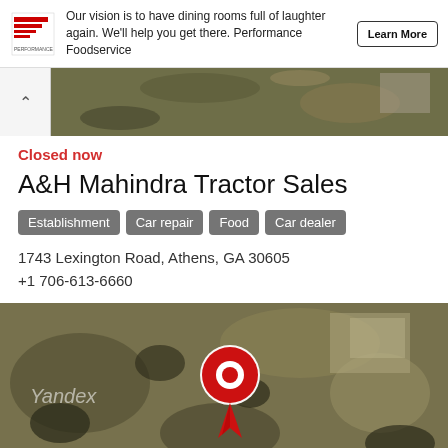[Figure (screenshot): Performance Foodservice ad banner with logo, tagline text, and Learn More button]
[Figure (photo): Aerial satellite view strip with collapse arrow button on left]
Closed now
A&H Mahindra Tractor Sales
Establishment
Car repair
Food
Car dealer
1743 Lexington Road, Athens, GA 30605
+1 706-613-6660
[Figure (map): Yandex satellite map showing pin marker at the business location]